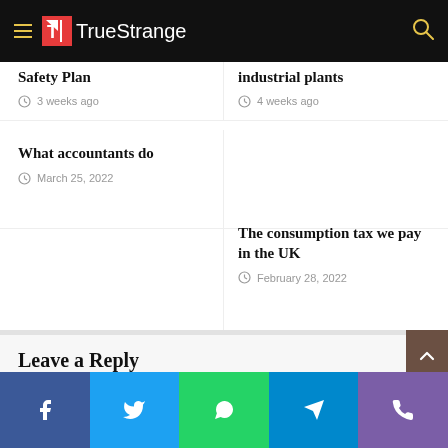TrueStrange
Safety Plan
3 weeks ago
industrial plants
4 weeks ago
What accountants do
March 25, 2022
The consumption tax we pay in the UK
February 28, 2022
Leave a Reply